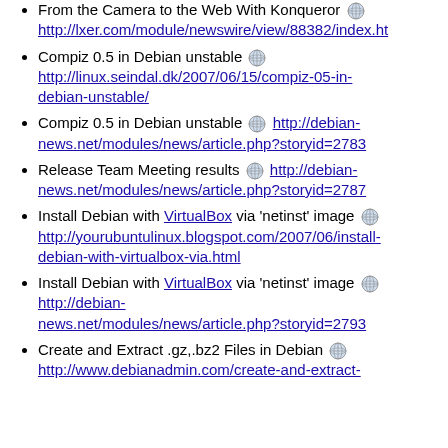From the Camera to the Web With Konqueror http://lxer.com/module/newswire/view/88382/index.ht
Compiz 0.5 in Debian unstable http://linux.seindal.dk/2007/06/15/compiz-05-in-debian-unstable/
Compiz 0.5 in Debian unstable http://debian-news.net/modules/news/article.php?storyid=2783
Release Team Meeting results http://debian-news.net/modules/news/article.php?storyid=2787
Install Debian with VirtualBox via 'netinst' image http://yourubuntulinux.blogspot.com/2007/06/install-debian-with-virtualbox-via.html
Install Debian with VirtualBox via 'netinst' image http://debian-news.net/modules/news/article.php?storyid=2793
Create and Extract .gz,.bz2 Files in Debian http://www.debianadmin.com/create-and-extract-